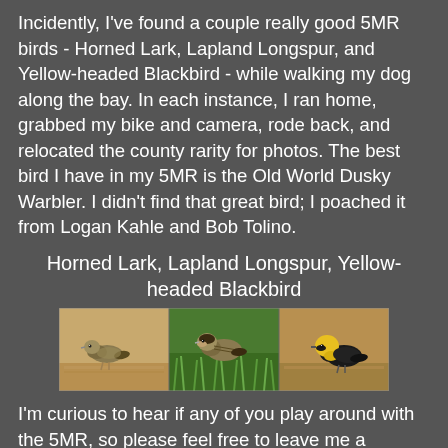Incidently, I've found a couple really good 5MR birds - Horned Lark, Lapland Longspur, and Yellow-headed Blackbird - while walking my dog along the bay. In each instance, I ran home, grabbed my bike and camera, rode back, and relocated the county rarity for photos. The best bird I have in my 5MR is the Old World Dusky Warbler. I didn't find that great bird; I poached it from Logan Kahle and Bob Tolino.
Horned Lark, Lapland Longspur, Yellow-headed Blackbird
[Figure (photo): Three side-by-side photos of birds: Horned Lark on sandy ground (left), Lapland Longspur in grass (center), Yellow-headed Blackbird with bright yellow head on sandy ground (right)]
I'm curious to hear if any of you play around with the 5MR, so please feel free to leave me a comment with your experiences and exploits I'd be very curious to know how high species totals in the 5MR can be